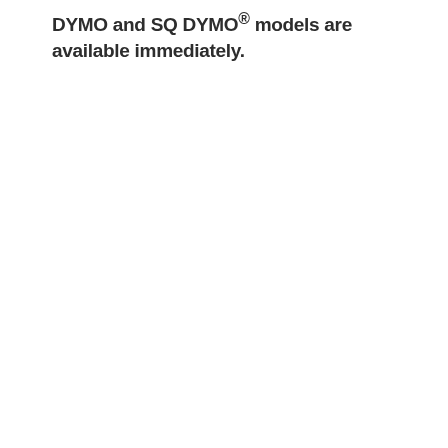DYMO and SQ DYMO® models are available immediately.